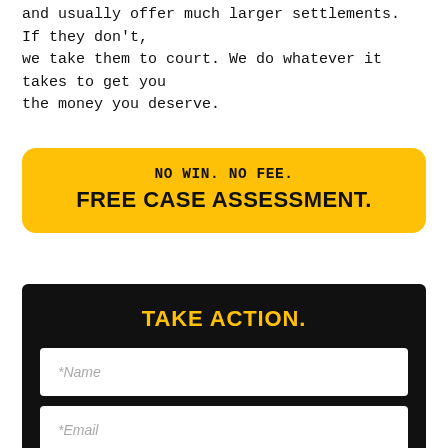and usually offer much larger settlements. If they don't, we take them to court. We do whatever it takes to get you the money you deserve.
[Figure (infographic): Yellow call-to-action button with rounded corners reading 'NO WIN. NO FEE. FREE CASE ASSESSMENT.']
TAKE ACTION.
*Name
*Email